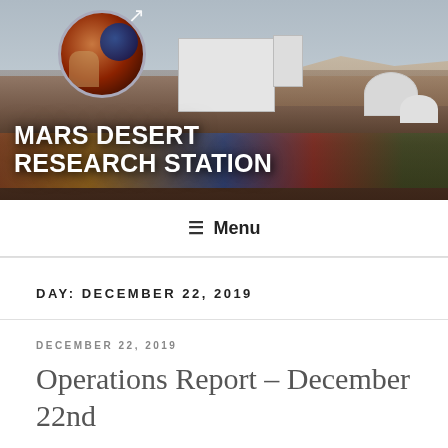[Figure (photo): Header banner showing Mars Desert Research Station aerial view with crowd of people in front of the habitat structures in a desert landscape. Overlaid with MDRS logo (circular with Mars planet and astronaut imagery, with Mars symbol arrow) and bold white title text.]
MARS DESERT RESEARCH STATION
≡ Menu
DAY: DECEMBER 22, 2019
DECEMBER 22, 2019
Operations Report – December 22nd